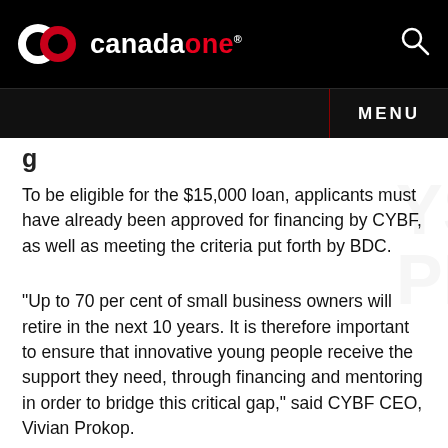canadaone
To be eligible for the $15,000 loan, applicants must have already been approved for financing by CYBF, as well as meeting the criteria put forth by BDC.
"Up to 70 per cent of small business owners will retire in the next 10 years. It is therefore important to ensure that innovative young people receive the support they need, through financing and mentoring in order to bridge this critical gap," said CYBF CEO, Vivian Prokop.
Potential applicants who wish to find out more information about the program should visit